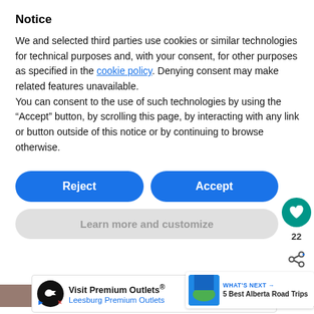Notice
We and selected third parties use cookies or similar technologies for technical purposes and, with your consent, for other purposes as specified in the cookie policy. Denying consent may make related features unavailable.
You can consent to the use of such technologies by using the “Accept” button, by scrolling this page, by interacting with any link or button outside of this notice or by continuing to browse otherwise.
Reject
Accept
Learn more and customize
22
WHAT'S NEXT → 5 Best Alberta Road Trips
[Figure (photo): Brown/earth-toned photo strip]
[Figure (infographic): Advertisement bar: Visit Premium Outlets® Leesburg Premium Outlets]